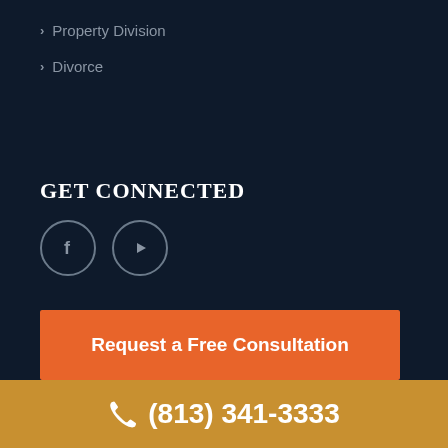Property Division
Divorce
GET CONNECTED
[Figure (other): Social media icons: Facebook circle and YouTube circle]
Request a Free Consultation
(813) 341-3333